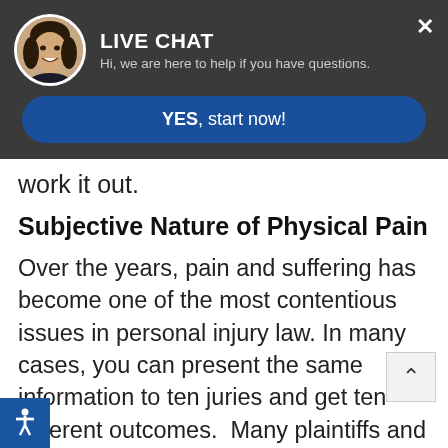[Figure (screenshot): Live chat popup banner with avatar photo, title 'LIVE CHAT', subtitle 'Hi, we are here to help if you have questions.', a blue 'YES, start now!' button, and a close X button.]
work it out.
Subjective Nature of Physical Pain
Over the years, pain and suffering has become one of the most contentious issues in personal injury law. In many cases, you can present the same information to ten juries and get ten different outcomes. Many plaintiffs and attorneys worry